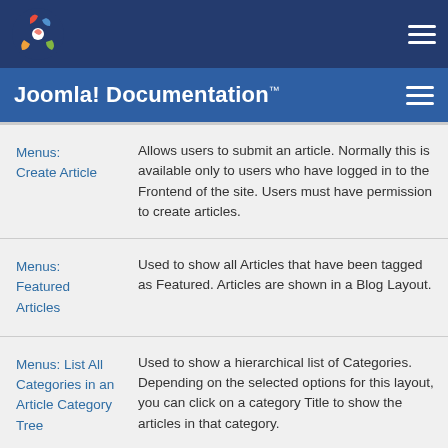Joomla! Documentation™
| Menu Item | Description |
| --- | --- |
| Menus: Create Article | Allows users to submit an article. Normally this is available only to users who have logged in to the Frontend of the site. Users must have permission to create articles. |
| Menus: Featured Articles | Used to show all Articles that have been tagged as Featured. Articles are shown in a Blog Layout. |
| Menus: List All Categories in an Article Category Tree | Used to show a hierarchical list of Categories. Depending on the selected options for this layout, you can click on a category Title to show the articles in that category. |
| Menus: |  |